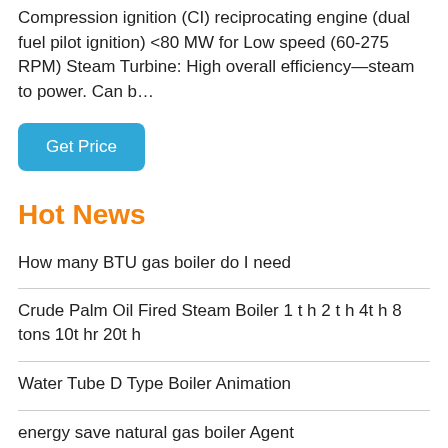Compression ignition (CI) reciprocating engine (dual fuel pilot ignition) <80 MW for Low speed (60-275 RPM) Steam Turbine: High overall efficiency—steam to power. Can b…
Get Price
Hot News
How many BTU gas boiler do I need
Crude Palm Oil Fired Steam Boiler 1 t h 2 t h 4t h 8 tons 10t hr 20t h
Water Tube D Type Boiler Animation
energy save natural gas boiler Agent
Combined Electric Boiler For Sale